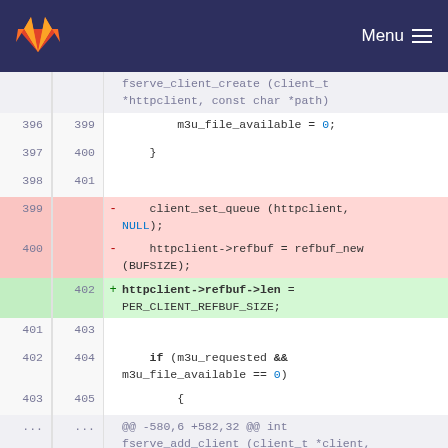GitLab — Menu
[Figure (screenshot): Code diff view showing changes in a C source file. Lines 396-405 shown with old/new line numbers. Lines 399-400 (deleted, red background): client_set_queue(httpclient, NULL); and httpclient->refbuf = refbuf_new(BUFSIZE);. Line 402 (added, green background): httpclient->refbuf->len = PER_CLIENT_REFBUF_SIZE;. Context lines 401-405 show if (m3u_requested && m3u_file_available == 0) { and hunk header @@ -580,6 +582,32 @@ int fserve_add_client (client_t *client, FILE *file). Lines 580-583 show closing brace.]